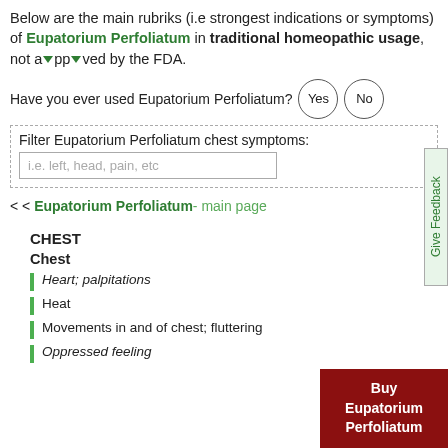Below are the main rubriks (i.e strongest indications or symptoms) of Eupatorium Perfoliatum in traditional homeopathic usage, not approved by the FDA.
Have you ever used Eupatorium Perfoliatum? Yes No
Filter Eupatorium Perfoliatum chest symptoms: i.e. left, head, pain, etc
< < Eupatorium Perfoliatum- main page
CHEST
Chest
Heart; palpitations
Heat
Movements in and of chest; fluttering
Oppressed feeling